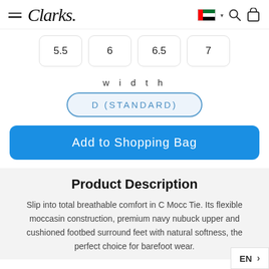Clarks
5.5
6
6.5
7
width
D (STANDARD)
Add to Shopping Bag
Product Description
Slip into total breathable comfort in C Mocc Tie. Its flexible moccasin construction, premium navy nubuck upper and cushioned footbed surround feet with natural softness, the perfect choice for barefoot wear.